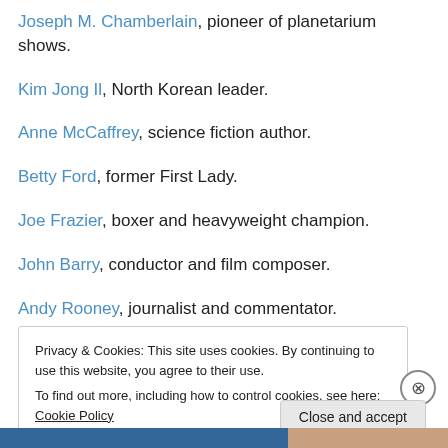Joseph M. Chamberlain, pioneer of planetarium shows.
Kim Jong Il, North Korean leader.
Anne McCaffrey, science fiction author.
Betty Ford, former First Lady.
Joe Frazier, boxer and heavyweight champion.
John Barry, conductor and film composer.
Andy Rooney, journalist and commentator.
Privacy & Cookies: This site uses cookies. By continuing to use this website, you agree to their use. To find out more, including how to control cookies, see here: Cookie Policy
Close and accept